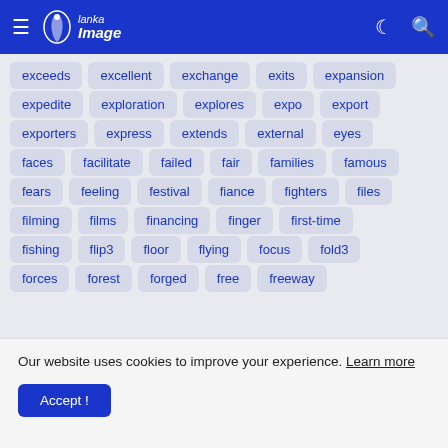Lanka Image
exceeds
excellent
exchange
exits
expansion
expedite
exploration
explores
expo
export
exporters
express
extends
external
eyes
faces
facilitate
failed
fair
families
famous
fears
feeling
festival
fiance
fighters
files
filming
films
financing
finger
first-time
fishing
flip3
floor
flying
focus
fold3
forces
forest
forged
free
freeway
Our website uses cookies to improve your experience. Learn more